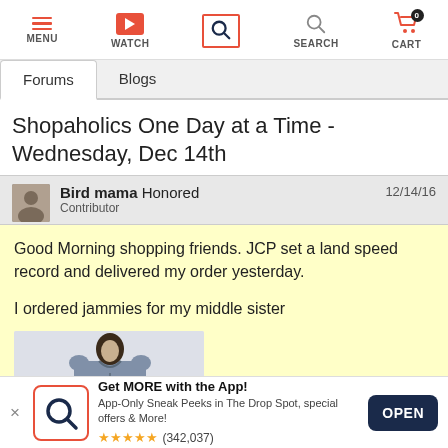[Figure (screenshot): Navigation bar with MENU, WATCH, search (highlighted with red border), SEARCH, and CART icons]
Forums	Blogs
Shopaholics One Day at a Time - Wednesday, Dec 14th
Bird mama Honored	12/14/16
Contributor
Good Morning shopping friends.  JCP set a land speed record and delivered my order yesterday.

I ordered jammies for my middle sister
[Figure (photo): Product image showing a woman in a blue/grey top with button placket]
Get MORE with the App!
App-Only Sneak Peeks in The Drop Spot, special offers & More!
★★★★★ (342,037)